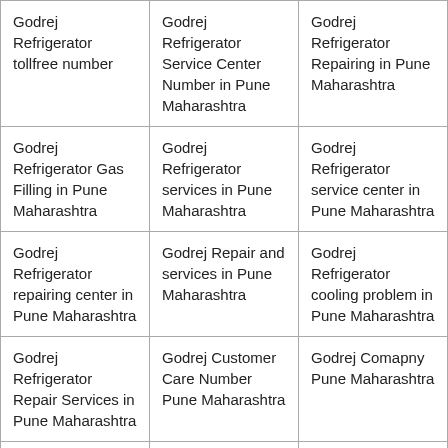| Godrej Refrigerator tollfree number | Godrej Refrigerator Service Center Number in Pune Maharashtra | Godrej Refrigerator Repairing in Pune Maharashtra |
| Godrej Refrigerator Gas Filling in Pune Maharashtra | Godrej Refrigerator services in Pune Maharashtra | Godrej Refrigerator service center in Pune Maharashtra |
| Godrej Refrigerator repairing center in Pune Maharashtra | Godrej Repair and services in Pune Maharashtra | Godrej Refrigerator cooling problem in Pune Maharashtra |
| Godrej Refrigerator Repair Services in Pune Maharashtra | Godrej Customer Care Number Pune Maharashtra | Godrej Comapny Pune Maharashtra |
| Godrej Service Center Near Me Pune Maharashtra | Godrej Whatsapp Number Pune Maharashtra | Godrej Complaint Pune Maharashtra |
| Godrej Customer... | Godrej Service... | Godrej Showroom... |